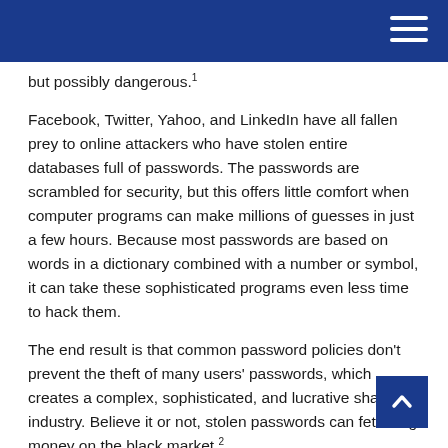[Navigation header with hamburger menu]
but possibly dangerous.¹
Facebook, Twitter, Yahoo, and LinkedIn have all fallen prey to online attackers who have stolen entire databases full of passwords. The passwords are scrambled for security, but this offers little comfort when computer programs can make millions of guesses in just a few hours. Because most passwords are based on words in a dictionary combined with a number or symbol, it can take these sophisticated programs even less time to hack them.
The end result is that common password policies don't prevent the theft of many users' passwords, which creates a complex, sophisticated, and lucrative shadow industry. Believe it or not, stolen passwords can fetch big money on the black market.²